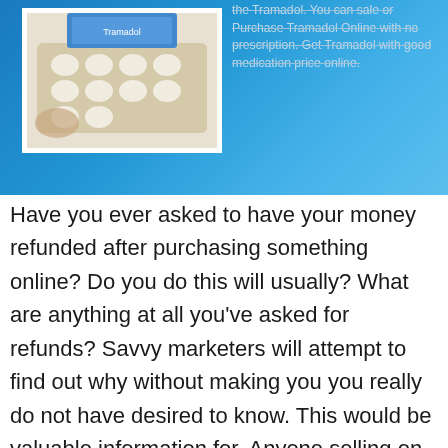[Figure (photo): Banner image with blue gradient background showing pills/medication blister pack on left, and strikethrough text about Tramadol purchase online on the right]
Have you ever asked to have your money refunded after purchasing something online? Do you do this will usually? What are anything at all you've asked for refunds? Savvy marketers will attempt to find out why without making you you really do not have desired to know. This would be valuable information for. Anyone selling on the internet end up being willing to be experiencing a fair and prompt refund insurance option. To back up many and claims without concern. It is especially important to do internet sales and since the transaction completed without has a to “read” the salesperson and operation face to take care of.